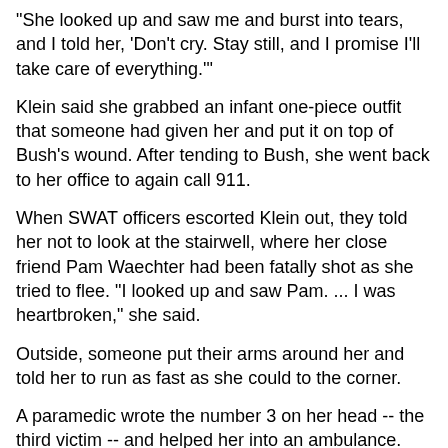"She looked up and saw me and burst into tears, and I told her, 'Don't cry. Stay still, and I promise I'll take care of everything.'"
Klein said she grabbed an infant one-piece outfit that someone had given her and put it on top of Bush's wound. After tending to Bush, she went back to her office to again call 911.
When SWAT officers escorted Klein out, they told her not to look at the stairwell, where her close friend Pam Waechter had been fatally shot as she tried to flee. "I looked up and saw Pam. ... I was heartbroken," she said.
Outside, someone put their arms around her and told her to run as fast as she could to the corner.
A paramedic wrote the number 3 on her head -- the third victim -- and helped her into an ambulance.
"I'm a lucky woman," Klein said, overcome by the support from the hospital, police, friends and those in Seattle and the Jewish community.
She's undergoing physical therapy and wears a brace to help her use her left hand. Co-worker Goldman has been